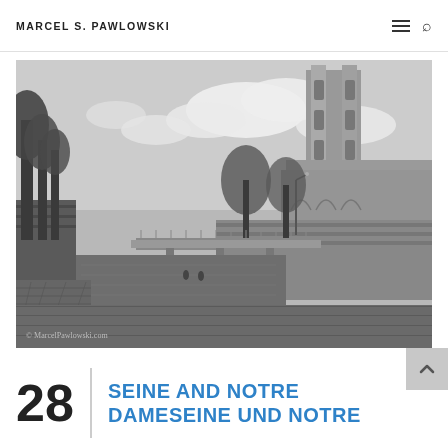MARCEL S. PAWLOWSKI
[Figure (photo): Black and white photograph of the Seine river in Paris with Notre Dame cathedral visible on the right, trees lining the left bank, a bridge in the middle distance, and a cobblestone walkway in the foreground. Watermark reads © MarcelPawlowski.com]
SEINE AND NOTRE DAME / SEINE UND NOTRE